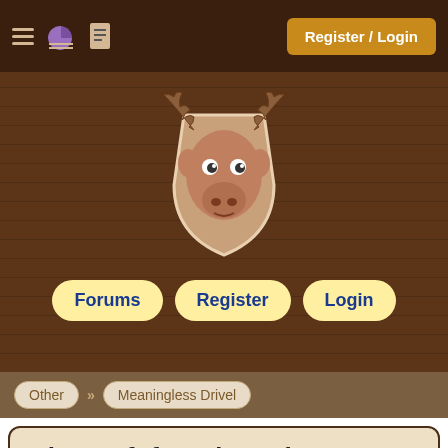Register / Login
[Figure (illustration): Cartoon moose head mounted on a shield-shaped plaque, drawn in a whimsical style with large antlers and googly eyes]
Forums
Register
Login
Other » Meaningless Drivel
Microsoft found another way....
Gregg Bolinger , Ranch Hand
Oct 08, 2002 14:15:00
reply
+Pie